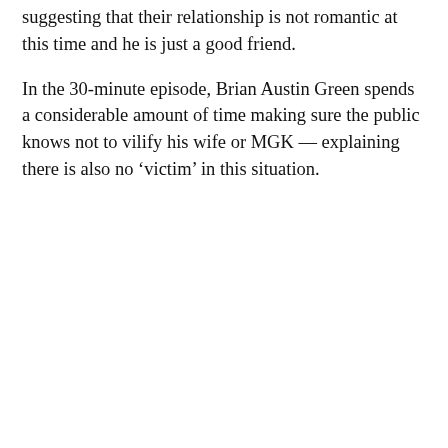suggesting that their relationship is not romantic at this time and he is just a good friend.
In the 30-minute episode, Brian Austin Green spends a considerable amount of time making sure the public knows not to vilify his wife or MGK — explaining there is also no ‘victim’ in this situation.